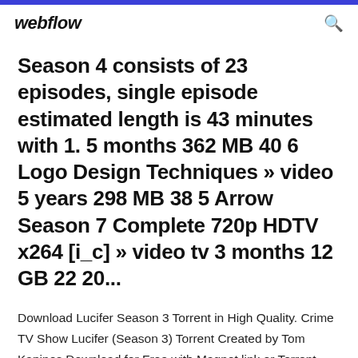webflow
Season 4 consists of 23 episodes, single episode estimated length is 43 minutes with 1. 5 months 362 MB 40 6 Logo Design Techniques » video 5 years 298 MB 38 5 Arrow Season 7 Complete 720p HDTV x264 [i_c] » video tv 3 months 12 GB 22 20...
Download Lucifer Season 3 Torrent in High Quality. Crime TV Show Lucifer (Season 3) Torrent Created by Tom Kapinos Download for Free with Magnet link or Torrent Head...